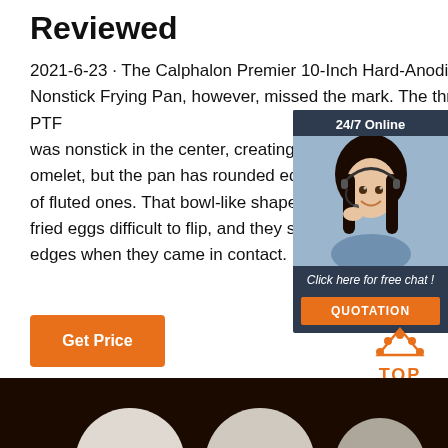Reviewed
2021-6-23 · The Calphalon Premier 10-Inch Hard-Anodized Nonstick Frying Pan, however, missed the mark. The three-layer PTFE was nonstick in the center, creating a omelet, but the pan has rounded edges of fluted ones. That bowl-like shape m fried eggs difficult to flip, and they stuc edges when they came in contact.
[Figure (other): Get Price orange button]
[Figure (other): 24/7 Online chat widget with woman wearing headset, 'Click here for free chat!' text, and orange QUOTATION button]
[Figure (other): TOP navigation button with orange dots arc above the text]
[Figure (photo): Dark background image at bottom of page showing partial white circular shapes]